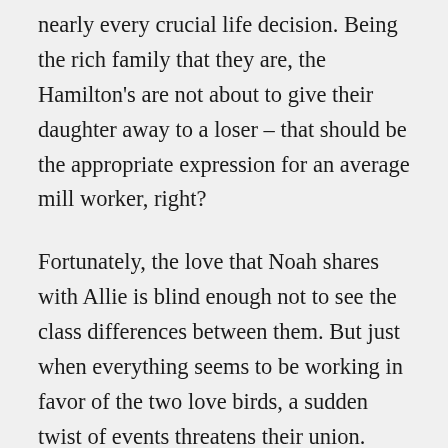nearly every crucial life decision. Being the rich family that they are, the Hamilton's are not about to give their daughter away to a loser – that should be the appropriate expression for an average mill worker, right?
Fortunately, the love that Noah shares with Allie is blind enough not to see the class differences between them. But just when everything seems to be working in favor of the two love birds, a sudden twist of events threatens their union. Noah goes off to serve in the Second World War.